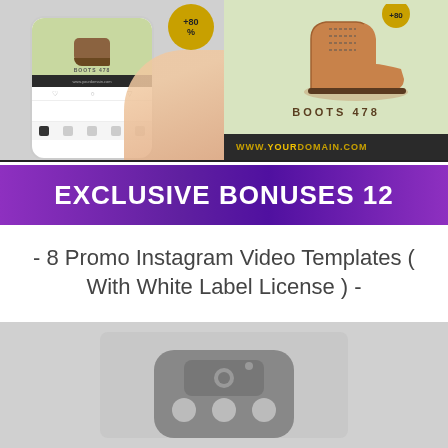[Figure (screenshot): Split image: left side shows a hand holding a smartphone with an Instagram-style product post showing boots; right side shows a close-up of brown leather boots labeled 'BOOTS 478' with a light green background and dark URL bar reading 'WWW.YOURDOMAIN.COM']
EXCLUSIVE BONUSES 12
- 8 Promo Instagram Video Templates ( With White Label License ) -
[Figure (screenshot): Grayscale preview image showing a video template thumbnail with a dark rounded-rectangle icon containing three circular dots, on a light gray background]